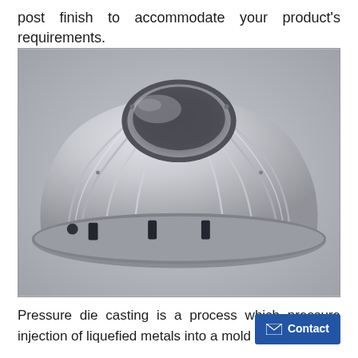post finish to accommodate your product's requirements.
[Figure (photo): A silver aluminum pressure die cast component with a dome/bell shape, featuring vertical ribbed fins radiating outward, a circular opening at the top, and several rectangular slots near the base. The part sits on a light gray background.]
Pressure die casting is a process which pressure injection of liquefied metals into a mold cavity for